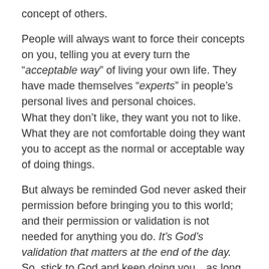concept of others.
People will always want to force their concepts on you, telling you at every turn the “acceptable way” of living your own life. They have made themselves “experts” in people’s personal lives and personal choices.
What they don’t like, they want you not to like. What they are not comfortable doing they want you to accept as the normal or acceptable way of doing things.
But always be reminded God never asked their permission before bringing you to this world; and their permission or validation is not needed for anything you do. It’s God’s validation that matters at the end of the day. So, stick to God and keep doing you…as long as you’re comfortable with YOU.
©Mark Golocin (McAngle) 2013